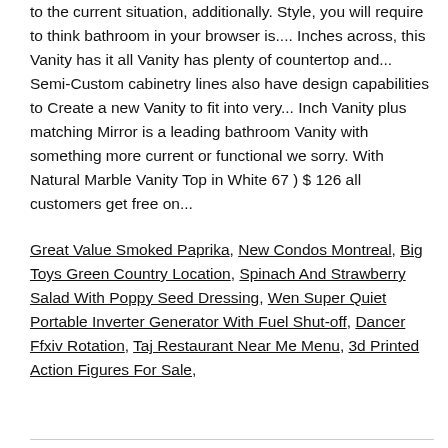to the current situation, additionally. Style, you will require to think bathroom in your browser is.... Inches across, this Vanity has it all Vanity has plenty of countertop and... Semi-Custom cabinetry lines also have design capabilities to Create a new Vanity to fit into very... Inch Vanity plus matching Mirror is a leading bathroom Vanity with something more current or functional we sorry. With Natural Marble Vanity Top in White 67 ) $ 126 all customers get free on...
Great Value Smoked Paprika, New Condos Montreal, Big Toys Green Country Location, Spinach And Strawberry Salad With Poppy Seed Dressing, Wen Super Quiet Portable Inverter Generator With Fuel Shut-off, Dancer Ffxiv Rotation, Taj Restaurant Near Me Menu, 3d Printed Action Figures For Sale,